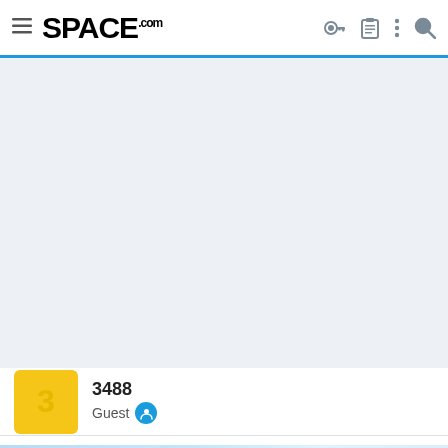SPACE.com
[Figure (other): Light blue/grey placeholder area (advertisement space)]
3488
Guest
[Figure (other): Bitdefender Back to School advertisement banner: -58% discount, Best-in-class digital protection for all your digital needs, BUY NOW button]